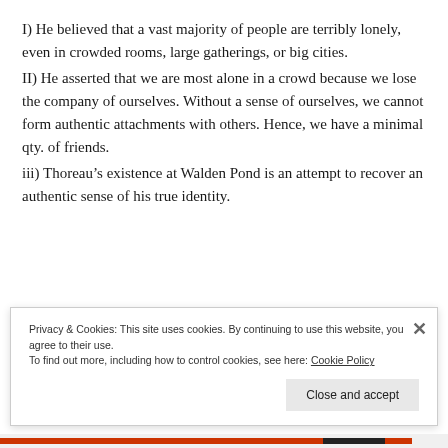I) He believed that a vast majority of people are terribly lonely, even in crowded rooms, large gatherings, or big cities.
II) He asserted that we are most alone in a crowd because we lose the company of ourselves. Without a sense of ourselves, we cannot form authentic attachments with others. Hence, we have a minimal qty. of friends.
iii) Thoreau’s existence at Walden Pond is an attempt to recover an authentic sense of his true identity.
Privacy & Cookies: This site uses cookies. By continuing to use this website, you agree to their use. To find out more, including how to control cookies, see here: Cookie Policy